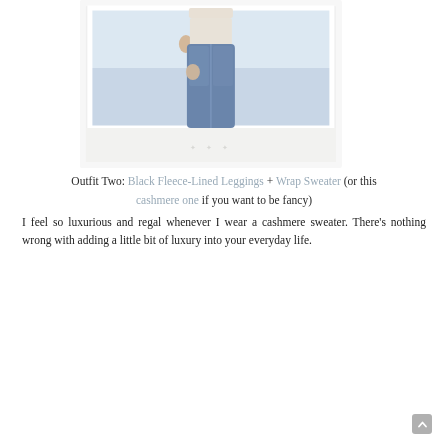[Figure (photo): A Polaroid-style framed photo showing a woman from waist down wearing blue jeans, with a white decorative frame border and light gray bottom panel]
Outfit Two: Black Fleece-Lined Leggings + Wrap Sweater (or this cashmere one if you want to be fancy)
I feel so luxurious and regal whenever I wear a cashmere sweater. There's nothing wrong with adding a little bit of luxury into your everyday life.